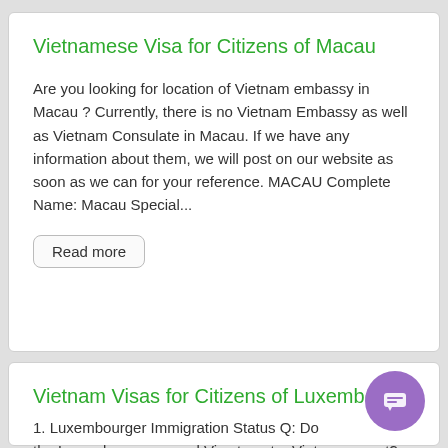Vietnamese Visa for Citizens of Macau
Are you looking for location of Vietnam embassy in Macau ? Currently, there is no Vietnam Embassy as well as Vietnam Consulate in Macau. If we have any information about them, we will post on our website as soon as we can for your reference. MACAU Complete Name: Macau Special...
Read more
Vietnam Visas for Citizens of Luxembourg
1. Luxembourger Immigration Status Q: Do the Luxembourgers need Visa to enter Vietnam or not? A: Yes,